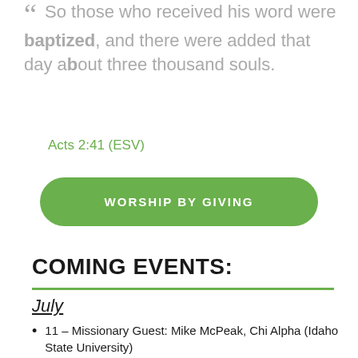“ So those who received his word were baptized, and there were added that day about three thousand souls.
Acts 2:41 (ESV)
WORSHIP BY GIVING
COMING EVENTS:
July
11 – Missionary Guest: Mike McPeak, Chi Alpha (Idaho State University)
13 – THIRSTY LifeGroup | 6:30pm, Fireside